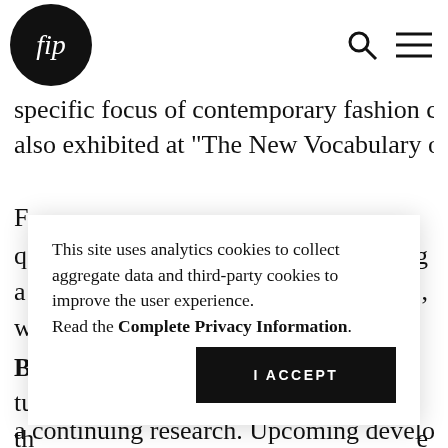fip [logo] [search icon] [menu icon]
specific focus of contemporary fashion companies, also exhibited at “The New Vocabulary of Italian F
q
ad
w
B
tu
th
se
bp
This site uses analytics cookies to collect aggregate data and third-party cookies to improve the user experience.
Read the Complete Privacy Information.
I ACCEPT
a continuing research. Upcoming developments